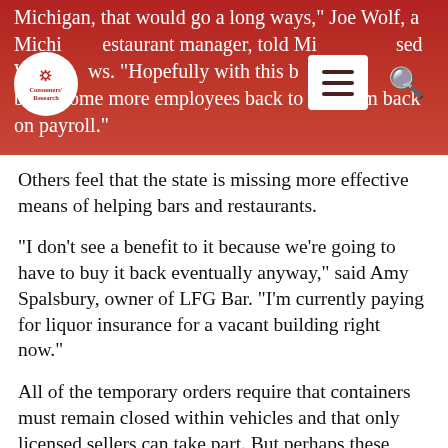Michigan, that would go a long ways," Joe Wolf, a Michigan restaurant manager, told Michigan-based WWJ News. "Hopefully with this bill, I can bring some more employees back to get them back on payroll."
Others feel that the state is missing more effective means of helping bars and restaurants.
“I don’t see a benefit to it because we’re going to have to buy it back eventually anyway,” said Amy Spalsbury, owner of LFG Bar. “I’m currently paying for liquor insurance for a vacant building right now.”
All of the temporary orders require that containers must remain closed within vehicles and that only licensed sellers can take part. But perhaps these changes will translate into a broader discussion about liquor laws, with some states having constitutionally questionable and inconsistent